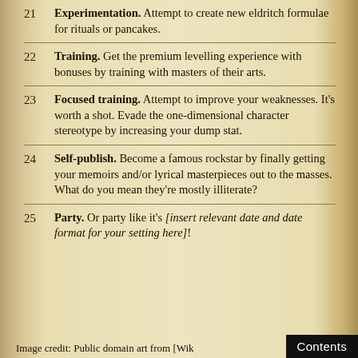21 Experimentation. Attempt to create new eldritch formulae for rituals or pancakes.
22 Training. Get the premium levelling experience with bonuses by training with masters of their arts.
23 Focused training. Attempt to improve your weaknesses. It's worth a shot. Evade the one-dimensional character stereotype by increasing your dump stat.
24 Self-publish. Become a famous rockstar by finally getting your memoirs and/or lyrical masterpieces out to the masses. What do you mean they're mostly illiterate?
25 Party. Or party like it's [insert relevant date and date format for your setting here]!
Image credit: Public domain art from [Wik